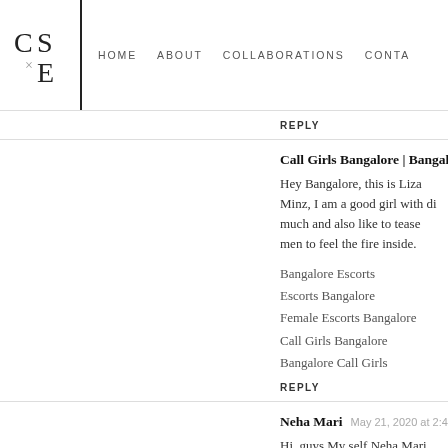CS×E | HOME  ABOUT  COLLABORATIONS  CONTA
REPLY
Call Girls Bangalore | Bangalore Escorts  May 18, 2020 at
Hey Bangalore, this is Liza Minz, I am a good girl with di much and also like to tease men to feel the fire inside.
Bangalore Escorts
Escorts Bangalore
Female Escorts Bangalore
Call Girls Bangalore
Bangalore Call Girls
REPLY
Neha Mari  May 21, 2020 at 2:41 AM
Hi, guys My self Neha Mari from Bangalore, Working in B 5 years experience, here my rule is independent call gi